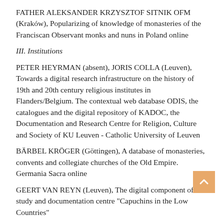FATHER ALEKSANDER KRZYSZTOF SITNIK OFM (Kraków), Popularizing of knowledge of monasteries of the Franciscan Observant monks and nuns in Poland online
III. Institutions
PETER HEYRMAN (absent), JORIS COLLA (Leuven), Towards a digital research infrastructure on the history of 19th and 20th century religious institutes in Flanders/Belgium. The contextual web database ODIS, the catalogues and the digital repository of KADOC, the Documentation and Research Centre for Religion, Culture and Society of KU Leuven - Catholic University of Leuven
BÄRBEL KRÖGER (Göttingen), A database of monasteries, convents and collegiate churches of the Old Empire. Germania Sacra online
GEERT VAN REYN (Leuven), The digital component of the study and documentation centre "Capuchins in the Low Countries"